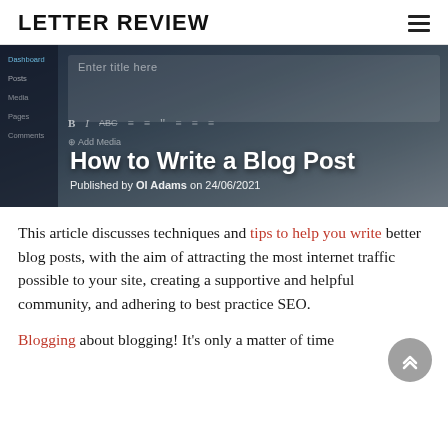LETTER REVIEW
[Figure (screenshot): Hero image showing a WordPress blog post editor interface with the text 'Enter title here' visible, along with editing toolbar and sidebar navigation items like Posts, Media, Pages, Comments, Dashboard.]
How to Write a Blog Post
Published by Ol Adams on 24/06/2021
This article discusses techniques and tips to help you write better blog posts, with the aim of attracting the most internet traffic possible to your site, creating a supportive and helpful community, and adhering to best practice SEO.
Blogging about blogging! It's only a matter of time